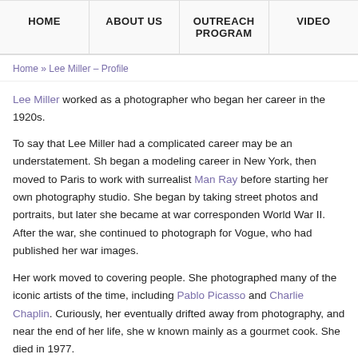HOME | ABOUT US | OUTREACH PROGRAM | VIDEO
Home » Lee Miller – Profile
Lee Miller worked as a photographer who began her career in the 1920s.
To say that Lee Miller had a complicated career may be an understatement. She began a modeling career in New York, then moved to Paris to work with surrealist Man Ray before starting her own photography studio. She began by taking street photos and portraits, but later she became at war correspondent World War II. After the war, she continued to photograph for Vogue, who had published her war images.
Her work moved to covering people. She photographed many of the iconic artists of the time, including Pablo Picasso and Charlie Chaplin. Curiously, her eventually drifted away from photography, and near the end of her life, she was known mainly as a gourmet cook. She died in 1977.